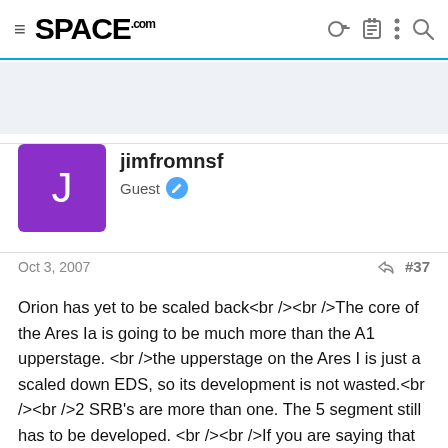SPACE.com
[Figure (other): Advertisement banner area, light blue-gray background]
jimfromnsf
Guest
Oct 3, 2007  #37
Orion has yet to be scaled back<br /><br />The core of the Ares Ia is going to be much more than the A1 upperstage. <br />the upperstage on the Ares I is just a scaled down EDS, so its development is not wasted.<br /><br />2 SRB's are more than one. The 5 segment still has to be developed. <br /><br />If you are saying that Direct is the Ares1A then the core is different. It is a modified ET vs an Ares V core. Which saves money by eliminating facility mods at KSC